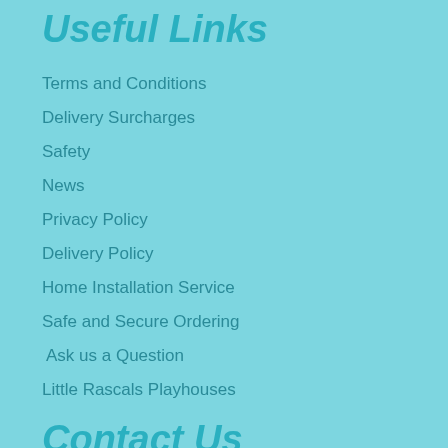Useful Links
Terms and Conditions
Delivery Surcharges
Safety
News
Privacy Policy
Delivery Policy
Home Installation Service
Safe and Secure Ordering
Ask us a Question
Little Rascals Playhouses
Contact Us